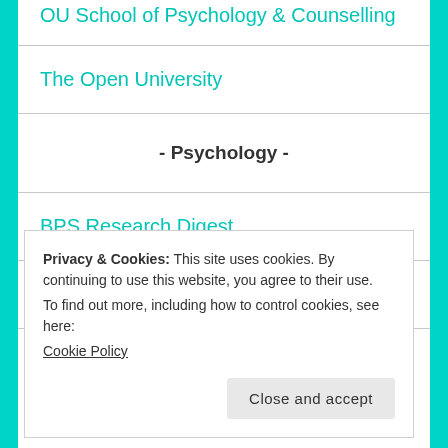OU School of Psychology & Counselling
The Open University
- Psychology -
BPS Research Digest
British Psychological Society
MindHacks
Privacy & Cookies: This site uses cookies. By continuing to use this website, you agree to their use.
To find out more, including how to control cookies, see here: Cookie Policy
Close and accept